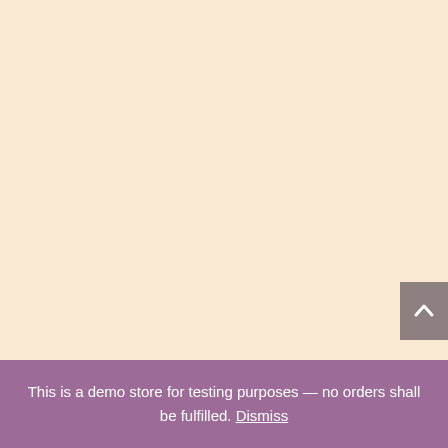[Figure (other): Large beige/cream colored blank area filling most of the page, serving as a website background.]
This is a demo store for testing purposes — no orders shall be fulfilled. Dismiss